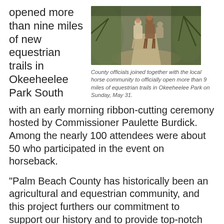opened more than nine miles of new equestrian trails in Okeeheelee Park South
[Figure (photo): Horses and riders on a shaded dirt trail through a wooded park area, with palm-like vegetation on the sides.]
County officials joined together with the local horse community to officially open more than 9 miles of equestrian trails in Okeeheelee Park on Sunday, May 31.
with an early morning ribbon-cutting ceremony hosted by Commissioner Paulette Burdick. Among the nearly 100 attendees were about 50 who participated in the event on horseback.
“Palm Beach County has historically been an agricultural and equestrian community, and this project furthers our commitment to support our history and to provide top-notch horseback riding experiences for local equestrian enthusiasts,” said Commissioner Burdick.
Development of the trails included extensive removal of exotic